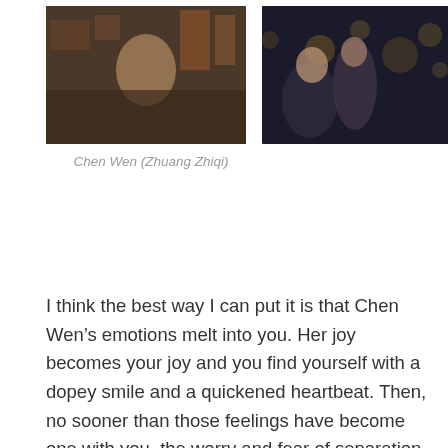[Figure (photo): Two film stills side by side: left shows a woman smiling in a market/shop setting with Chinese signage; right shows two figures in a dimly lit night scene with bokeh lights in background.]
Chen Wen (Zhuang Zhiqi)
I think the best way I can put it is that Chen Wen’s emotions melt into you. Her joy becomes your joy and you find yourself with a dopey smile and a quickened heartbeat. Then, no sooner than those feelings have become one with you, the worry and fear of separation comes in. Tears begin to stream down your face and you find yourself questioning this: Are these emotions a reaction to what is happening to Chen Wen or has Zhuang Zhiqi connected with you on such a level that she